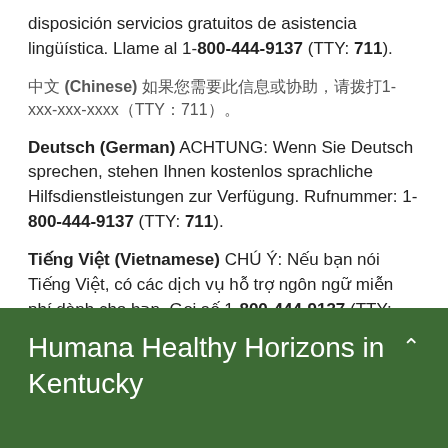disposición servicios gratuitos de asistencia lingüística. Llame al 1-800-444-9137 (TTY: 711).
中文 (Chinese) 如果您需要此信息或协助，请拨打1-xxx-xxx-xxxx（TTY：711）。
Deutsch (German) ACHTUNG: Wenn Sie Deutsch sprechen, stehen Ihnen kostenlos sprachliche Hilfsdienstleistungen zur Verfügung. Rufnummer: 1-800-444-9137 (TTY: 711).
Tiếng Việt (Vietnamese) CHÚ Ý: Nếu bạn nói Tiếng Việt, có các dịch vụ hỗ trợ ngôn ngữ miễn phí dành cho bạn. Gọi số 1-800-444-9137 (TTY: 711).
العربية (Arabic) 800-444-9137 ...
Humana Healthy Horizons in Kentucky